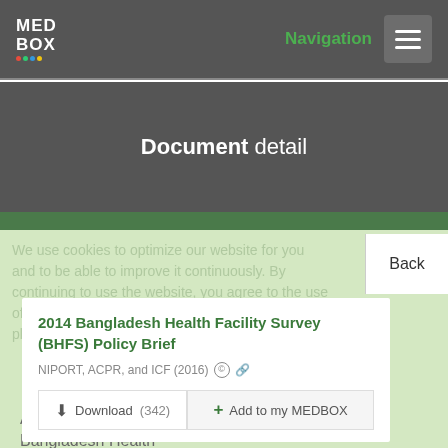MED BOX  Navigation
Document detail
We use cookies to optimize our website for you and to be able to improve it continuously. By continuing to use the website, you agree to the use of cookies. For more information about cookies, please see our privacy policy.
2014 Bangladesh Health Facility Survey (BHFS) Policy Brief
NIPORT, ACPR, and ICF (2016)
Download (342)  Add to my MEDBOX
Achieving Quality Health Care in Bangladesh: 2014 Bangladesh Health